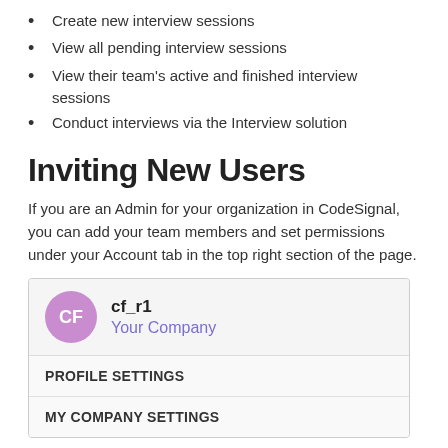Create new interview sessions
View all pending interview sessions
View their team's active and finished interview sessions
Conduct interviews via the Interview solution
Inviting New Users
If you are an Admin for your organization in CodeSignal, you can add your team members and set permissions under your Account tab in the top right section of the page.
[Figure (screenshot): A UI screenshot showing an account dropdown menu with a purple 'CF' avatar, username 'cf_r1', company 'Your Company', followed by menu items 'PROFILE SETTINGS' and 'MY COMPANY SETTINGS']